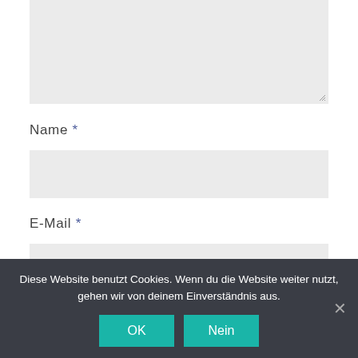[Figure (screenshot): Truncated textarea input box at top of page with resize handle in lower right corner]
Name *
[Figure (screenshot): Text input field for Name]
E-Mail *
[Figure (screenshot): Text input field for E-Mail]
Website
[Figure (screenshot): Text input field for Website (partially visible)]
Diese Website benutzt Cookies. Wenn du die Website weiter nutzt, gehen wir von deinem Einverständnis aus.